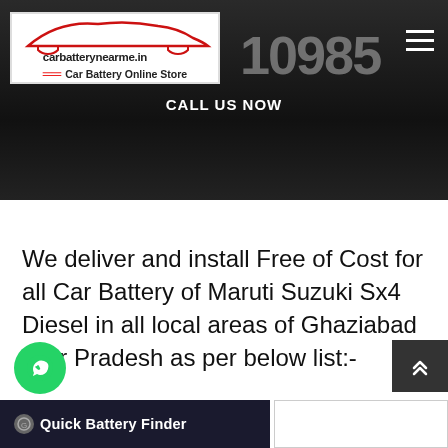[Figure (screenshot): Website header with carbatterynearme.in logo, partial phone number '10985', hamburger menu, and CALL US NOW text on dark background]
We deliver and install Free of Cost for all Car Battery of Maruti Suzuki Sx4 Diesel in all local areas of Ghaziabad Uttar Pradesh as per below list:-
Quick Battery Finder